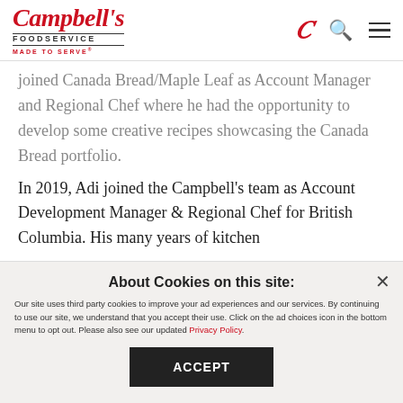[Figure (logo): Campbell's Foodservice – Made to Serve logo in red, with navigation icons (C script, search, hamburger menu)]
joined Canada Bread/Maple Leaf as Account Manager and Regional Chef where he had the opportunity to develop some creative recipes showcasing the Canada Bread portfolio.
In 2019, Adi joined the Campbell's team as Account Development Manager & Regional Chef for British Columbia. His many years of kitchen
About Cookies on this site:
Our site uses third party cookies to improve your ad experiences and our services. By continuing to use our site, we understand that you accept their use. Click on the ad choices icon in the bottom menu to opt out. Please also see our updated Privacy Policy.
ACCEPT